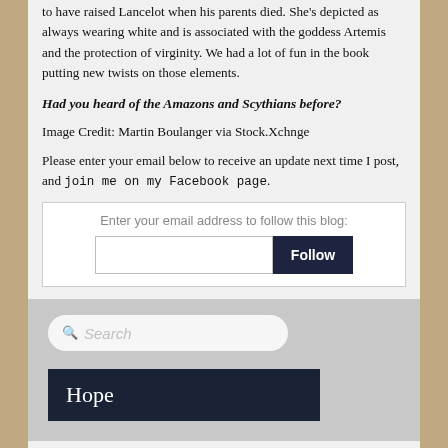to have raised Lancelot when his parents died. She's depicted as always wearing white and is associated with the goddess Artemis and the protection of virginity. We had a lot of fun in the book putting new twists on those elements.
Had you heard of the Amazons and Scythians before?
Image Credit: Martin Boulanger via Stock.Xchnge
Please enter your email below to receive an update next time I post, and join me on my Facebook page.
[Figure (other): Email subscription widget with text input field and Follow button]
[Figure (other): Sidebar search widget with search bar and Hope label]